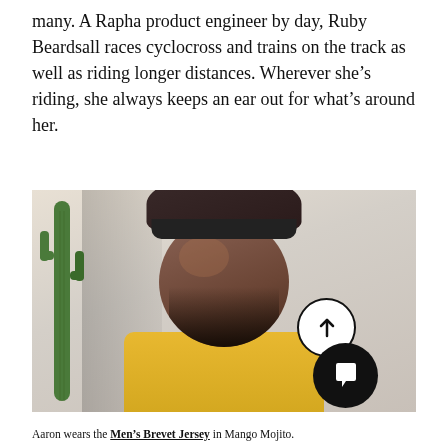many. A Rapha product engineer by day, Ruby Beardsall races cyclocross and trains on the track as well as riding longer distances. Wherever she’s riding, she always keeps an ear out for what’s around her.
[Figure (photo): Portrait photo of a man wearing a dark cycling helmet with sunglasses resting on top, a yellow jersey, and a beard. He stands in front of a light-coloured wall with a cactus visible on the left side. UI elements (an upward arrow circle and a chat bubble circle) are overlaid in the bottom-right of the image.]
Aaron wears the Men’s Brevet Jersey in Mango Mojito.